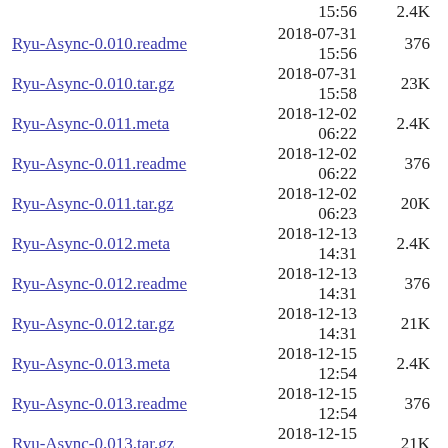Ryu-Async-0.010.meta  2018-07-31 15:56  2.4K
Ryu-Async-0.010.readme  2018-07-31 15:56  376
Ryu-Async-0.010.tar.gz  2018-07-31 15:58  23K
Ryu-Async-0.011.meta  2018-12-02 06:22  2.4K
Ryu-Async-0.011.readme  2018-12-02 06:22  376
Ryu-Async-0.011.tar.gz  2018-12-02 06:23  20K
Ryu-Async-0.012.meta  2018-12-13 14:31  2.4K
Ryu-Async-0.012.readme  2018-12-13 14:31  376
Ryu-Async-0.012.tar.gz  2018-12-13 14:31  21K
Ryu-Async-0.013.meta  2018-12-15 12:54  2.4K
Ryu-Async-0.013.readme  2018-12-15 12:54  376
Ryu-Async-0.013.tar.gz  2018-12-15 12:57  21K